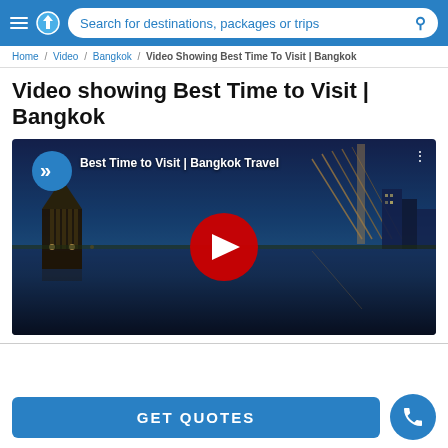Search for destinations, packages or trips
Home / Video / Bangkok / Video Showing Best Time To Visit | Bangkok
Video showing Best Time to Visit | Bangkok
[Figure (screenshot): YouTube video thumbnail showing Bangkok at night with temples and a bridge, featuring a red play button circle. Title overlay reads 'Best Time to Visit | Bangkok Travel'.]
GET QUOTES